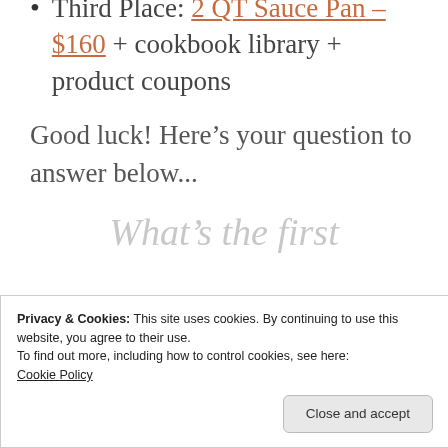Third Place: 2 QT Sauce Pan – $160 + cookbook library + product coupons
Good luck! Here's your question to answer below...
What's the first
Privacy & Cookies: This site uses cookies. By continuing to use this website, you agree to their use.
To find out more, including how to control cookies, see here:
Cookie Policy